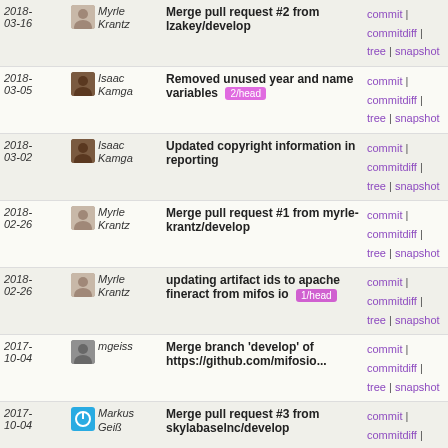| Date | Author | Commit | Links |
| --- | --- | --- | --- |
| 2018-03-16 | Myrle Krantz | Merge pull request #2 from lzakey/develop | commit | commitdiff | tree | snapshot |
| 2018-03-05 | Isaac Kamga | Removed unused year and name variables 2/head | commit | commitdiff | tree | snapshot |
| 2018-03-02 | Isaac Kamga | Updated copyright information in reporting | commit | commitdiff | tree | snapshot |
| 2018-02-26 | Myrle Krantz | Merge pull request #1 from myrle-krantz/develop | commit | commitdiff | tree | snapshot |
| 2018-02-26 | Myrle Krantz | updating artifact ids to apache fineract from mifos io 1/head | commit | commitdiff | tree | snapshot |
| 2017-10-04 | mgeiss | Merge branch 'develop' of https://github.com/mifosio... | commit | commitdiff | tree | snapshot |
| 2017-10-04 | Markus Geiß | Merge pull request #3 from skylabaselnc/develop | commit | commitdiff | tree | snapshot |
| 2017-09-29 | Awasum Yannick | LicenseFormat and clean up dead code | commit | commitdiff | tree | snapshot |
| 2017-09-29 | Awasum Yannick | More Updates | commit | commitdiff | tree | snapshot |
| 2017-09-06 | Markus Geiss | Merge pull request #1 from markusgeiss/develop | commit | commitdiff | tree | snapshot |
| 2017-09-06 | Markus Geiß | Merge pull request #2 from skylabaselnc/develop | commit | commitdiff | tree | snapshot |
| 2017-09-03 | Awasum Yannick | refactor add income state build rows, fix nullables | commit | commitdiff | tree | snapshot |